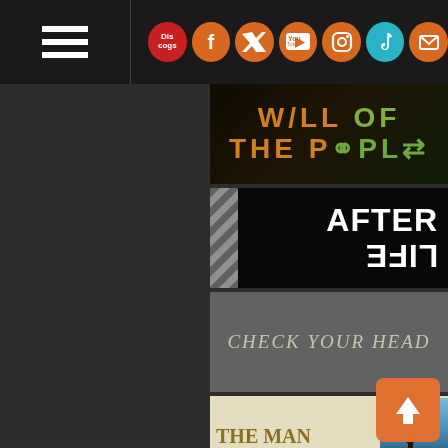Navigation header with hamburger menu and social media icons: Discogs, Facebook, Twitter, YouTube, Instagram, TikTok, Email
[Figure (illustration): Album cover banner: WILL OF THE PEOPLE in orange/gold and green stylized lettering on dark background]
[Figure (illustration): Album cover banner: AFTERLIFE with diagonal striped pattern on left, white bold futuristic text on black background]
[Figure (illustration): Album cover banner: CHECK YOUR HEAD in grey hand-written/brush style lettering on grey background]
[Figure (illustration): Album cover banner: THE MAN FROM WACO in bold gold serif text on cream background with small photo of cowboy figure on right]
[Figure (illustration): Album cover banner: AGAINST THE ODDS 1974-1982 in grey and black text on grey textured background]
[Figure (illustration): Partial album cover at bottom, cropped - shows large orange text beginning with letters starting to spell DANNY or similar on dark grey/black background]